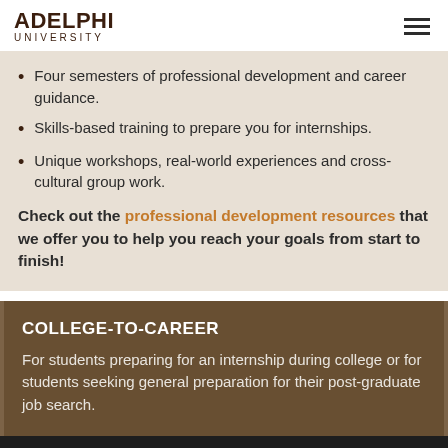ADELPHI UNIVERSITY
Four semesters of professional development and career guidance.
Skills-based training to prepare you for internships.
Unique workshops, real-world experiences and cross-cultural group work.
Check out the professional development resources that we offer you to help you reach your goals from start to finish!
COLLEGE-TO-CAREER
For students preparing for an internship during college or for students seeking general preparation for their post-graduate job search.